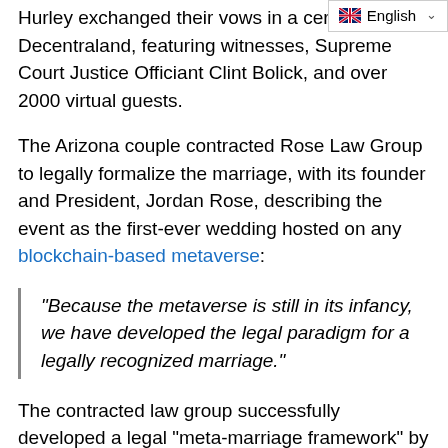Hurley exchanged their vows in a ceremony in Decentraland, featuring witnesses, Supreme Court Justice Officiant Clint Bolick, and over 2000 virtual guests.
The Arizona couple contracted Rose Law Group to legally formalize the marriage, with its founder and President, Jordan Rose, describing the event as the first-ever wedding hosted on any blockchain-based metaverse:
“Because the metaverse is still in its infancy, we have developed the legal paradigm for a legally recognized marriage.”
The contracted law group successfully developed a legal “meta-marriage framework” by incorporating a “Virtual Premarital Agreement,” which identified virtual identities of both couple and digital assets as recorded on the blockchain.